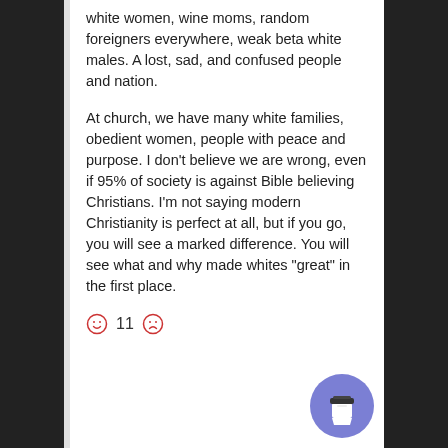white women, wine moms, random foreigners everywhere, weak beta white males. A lost, sad, and confused people and nation.
At church, we have many white families, obedient women, people with peace and purpose. I don’t believe we are wrong, even if 95% of society is against Bible believing Christians. I’m not saying modern Christianity is perfect at all, but if you go, you will see a marked difference. You will see what and why made whites “great” in the first place.
☺ 11 ☹